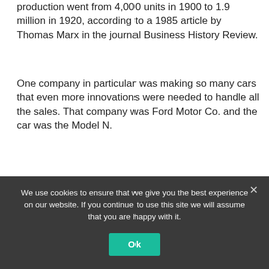production went from 4,000 units in 1900 to 1.9 million in 1920, according to a 1985 article by Thomas Marx in the journal Business History Review.
One company in particular was making so many cars that even more innovations were needed to handle all the sales. That company was Ford Motor Co. and the car was the Model N.
Produced from 1906 to 1908, Ford made 6,000 Model Ns in one year, an astounding
We use cookies to ensure that we give you the best experience on our website. If you continue to use this site we will assume that you are happy with it.